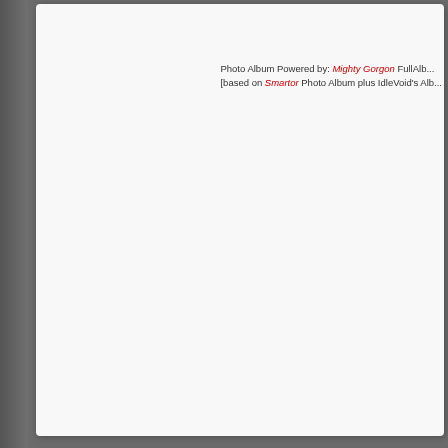Photo Album Powered by: Mighty Gorgon FullAlb... [based on Smartor Photo Album plus IdleVoid's Alb...